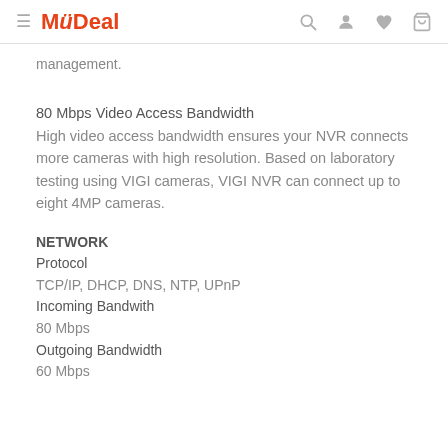MyDeal
management.
80 Mbps Video Access Bandwidth
High video access bandwidth ensures your NVR connects more cameras with high resolution. Based on laboratory testing using VIGI cameras, VIGI NVR can connect up to eight 4MP cameras.
NETWORK
Protocol
TCP/IP, DHCP, DNS, NTP, UPnP
Incoming Bandwith
80 Mbps
Outgoing Bandwidth
60 Mbps